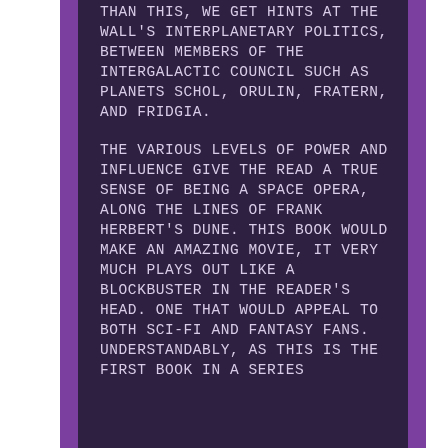than this, we get hints at The Wall's interplanetary politics, between members of the Intergalactic Council such as planets Schol, Orulin, Fratern, and Fridgia.
The various levels of power and influence give the read a true sense of being a Space Opera, along the lines of Frank Herbert's Dune. This book would make an amazing movie, it very much plays out like a blockbuster in the reader's head. One that would appeal to both Sci-fi and Fantasy fans. Understandably, as this is the first book in a series